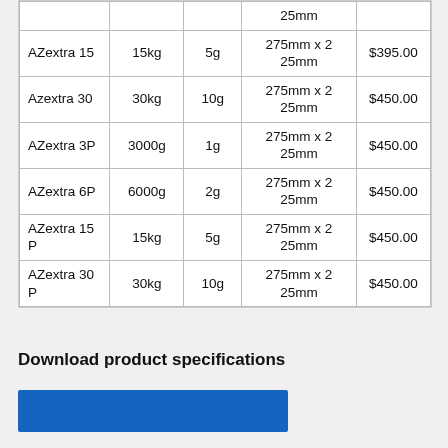|  |  |  | 25mm |  |
| --- | --- | --- | --- | --- |
| AZextra 15 | 15kg | 5g | 275mm x 2
25mm | $395.00 |
| Azextra 30 | 30kg | 10g | 275mm x 2
25mm | $450.00 |
| AZextra 3P | 3000g | 1g | 275mm x 2
25mm | $450.00 |
| AZextra 6P | 6000g | 2g | 275mm x 2
25mm | $450.00 |
| AZextra 15 P | 15kg | 5g | 275mm x 2
25mm | $450.00 |
| AZextra 30 P | 30kg | 10g | 275mm x 2
25mm | $450.00 |
Download product specifications
[Figure (other): Blue banner/button bar for download]